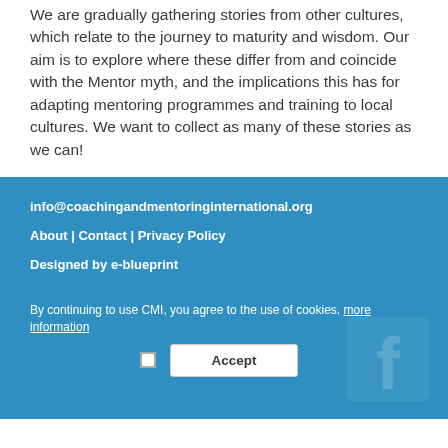We are gradually gathering stories from other cultures, which relate to the journey to maturity and wisdom. Our aim is to explore where these differ from and coincide with the Mentor myth, and the implications this has for adapting mentoring programmes and training to local cultures. We want to collect as many of these stories as we can!
info@coachingandmentoringinternational.org
About | Contact | Privacy Policy
Designed by e-blueprint
By continuing to use CMI, you agree to the use of cookies. more information  Accept